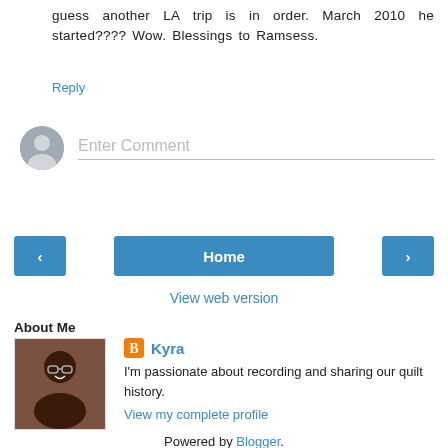guess another LA trip is in order. March 2010 he started???? Wow. Blessings to Ramsess.
Reply
[Figure (screenshot): Comment input field with grey avatar circle on the left and 'Enter Comment' placeholder text with underline]
[Figure (screenshot): Navigation buttons: left arrow button, Home button, right arrow button]
View web version
About Me
[Figure (photo): Profile photo of Kyra, a woman smiling, wearing a dark top]
Kyra
I'm passionate about recording and sharing our quilt history.
View my complete profile
Powered by Blogger.